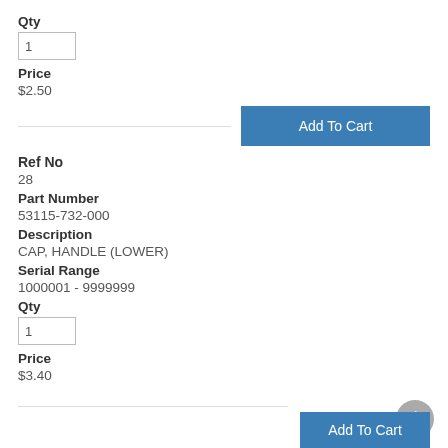Qty
1
Price
$2.50
Add To Cart
Ref No
28
Part Number
53115-732-000
Description
CAP, HANDLE (LOWER)
Serial Range
1000001 - 9999999
Qty
1
Price
$3.40
Add To Cart